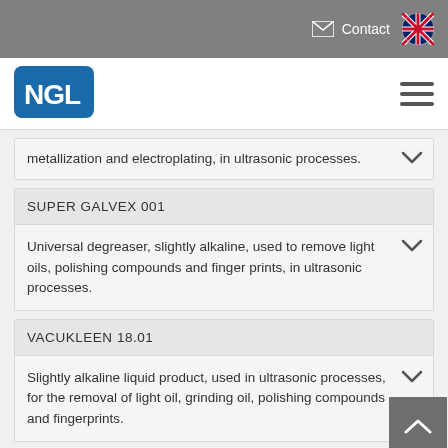Contact
[Figure (logo): NGL company logo - blue rounded square with white NGL letters]
metallization and electroplating, in ultrasonic processes.
SUPER GALVEX 001
Universal degreaser, slightly alkaline, used to remove light oils, polishing compounds and finger prints, in ultrasonic processes.
VACUKLEEN 18.01
Slightly alkaline liquid product, used in ultrasonic processes, for the removal of light oil, grinding oil, polishing compounds and fingerprints.
VACUKLEEN 30